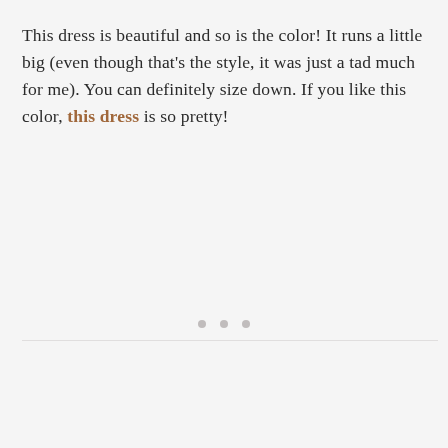This dress is beautiful and so is the color! It runs a little big (even though that's the style, it was just a tad much for me). You can definitely size down. If you like this color, this dress is so pretty!
[Figure (other): Three small grey dots centered horizontally, serving as a decorative separator or loading indicator]